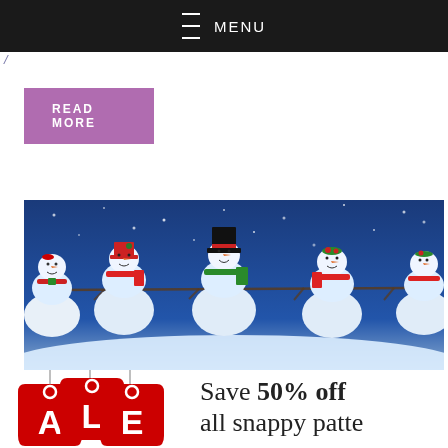MENU
/
READ MORE
[Figure (illustration): Happy New Year banner with snowmen on a blue snowy background, five smiling snowmen wearing hats and scarves holding branches, with text 'HAPPY NEW YEAR' in white bold on a blue strip below]
[Figure (illustration): Red sale tags with letters A, L, E hanging on strings with white circles, overlapping each other]
Save 50% off all snappy patte